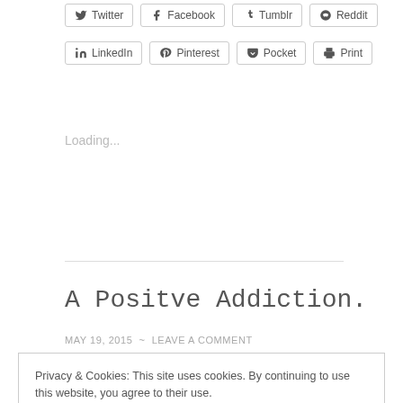[Figure (other): Social share buttons row 1: Twitter, Facebook, Tumblr, Reddit]
[Figure (other): Social share buttons row 2: LinkedIn, Pinterest, Pocket, Print]
Loading...
A Positve Addiction.
MAY 19, 2015 ~ LEAVE A COMMENT
Privacy & Cookies: This site uses cookies. By continuing to use this website, you agree to their use.
To find out more, including how to control cookies, see here: Cookie Policy
Close and accept